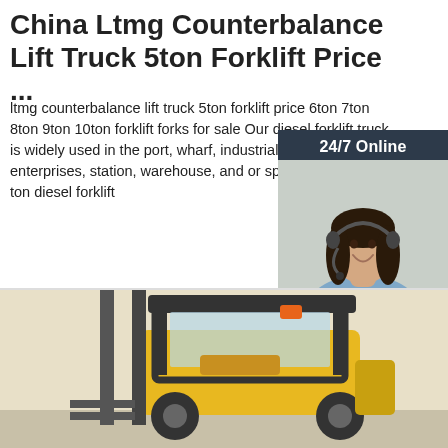China Ltmg Counterbalance Lift Truck 5ton Forklift Price ...
ltmg counterbalance lift truck 5ton forklift price 6ton 7ton 8ton 9ton 10ton forklift forks for sale Our diesel forklift truck is widely used in the port, wharf, industrial mining enterprises, station, warehouse, and or specification of 7 ton diesel forklift
[Figure (screenshot): Orange 'Get Price' button]
[Figure (photo): 24/7 Online chat widget with a woman wearing a headset and smiling, 'Click here for free chat!' text, and an orange QUOTATION button]
[Figure (photo): Forklift truck (yellow/black counterbalance forklift) photo at bottom of page]